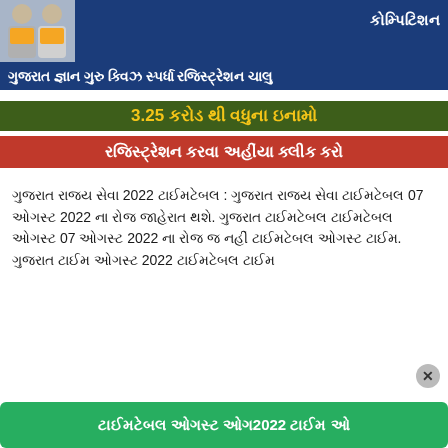[Figure (infographic): Gujarat Gyan Guru Quiz Competition banner with politicians photo on left, Gujarati text: Gujarat Gyan Guru Quiz Spardha Registration Chalu, 3.25 Karod thi Vadhu na Inamo, Registration Karva Ahiya Click Karo]
Gujarati language text about Gujarat Rajya Seva 2022 Pariksha - about Gujarat state exam dates mentioning 07 August 2022 and related exam information.
Button text in Gujarati: Registration Karva Ahiya Click Karo